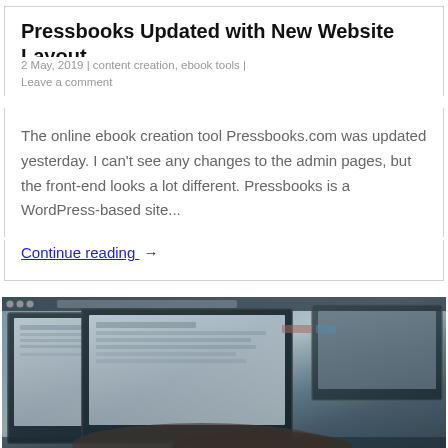Pressbooks Updated with New Website Layout
2 May, 2019 | content creation, ebook tools | Leave a comment
The online ebook creation tool Pressbooks.com was updated yesterday. I can’t see any changes to the admin pages, but the front-end looks a lot different. Pressbooks is a WordPress-based site...
Continue reading →
[Figure (photo): Person typing on a laptop/computer with two monitors visible, viewed from the side at an angle. The screens show a light-colored interface. A hand is visible on the keyboard.]